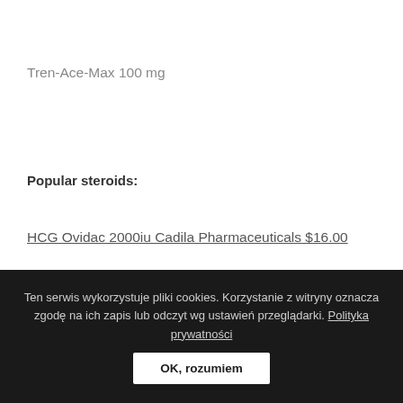Tren-Ace-Max 100 mg
Popular steroids:
HCG Ovidac 2000iu Cadila Pharmaceuticals $16.00
Ten serwis wykorzystuje pliki cookies. Korzystanie z witryny oznacza zgodę na ich zapis lub odczyt wg ustawień przeglądarki. Polityka prywatności
OK, rozumiem